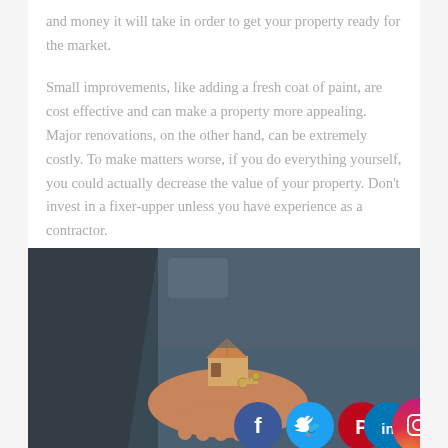and money it will take in order to get your property ready for the market.
Small improvements, like adding a fresh coat of paint, are cost effective and can make a property more appealing. Major renovations, on the other hand, can be extremely costly. To make matters worse, if you do everything yourself, you could actually decrease the value of your property. Don't invest in a fixer-upper unless you have experience as a contractor.
[Figure (photo): A person holding a small model house with keys in their palm, with a laptop in the background. Social media icons (Facebook, Twitter, Pinterest, LinkedIn, Instagram) visible at the bottom right of the image.]